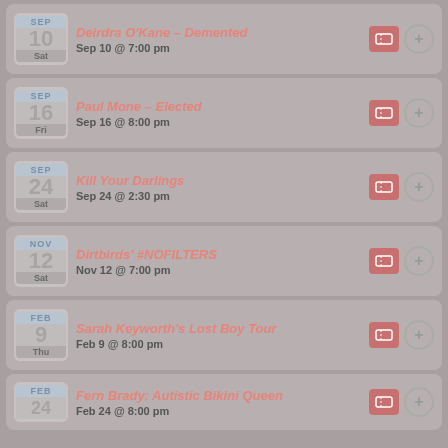Deirdra O'Kane – Demented | Sep 10 @ 7:00 pm
Paul Mone – Elected | Sep 16 @ 8:00 pm
Kill Your Darlings | Sep 24 @ 2:30 pm
Dirtbirds' #NOFILTERS | Nov 12 @ 7:00 pm
Sarah Keyworth's Lost Boy Tour | Feb 9 @ 8:00 pm
Fern Brady: Autistic Bikini Queen | Feb 24 @ 8:00 pm